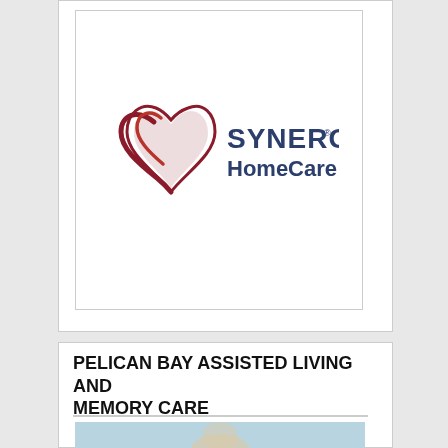[Figure (logo): SYNERGY HomeCare logo with a stylized red and dark red heart/swirl icon on the left, and 'SYNERGY® HomeCare' text in dark navy blue on the right]
PELICAN BAY ASSISTED LIVING AND MEMORY CARE
[Figure (photo): Partial photo of a person with light hair, against a light blue background, visible at the bottom of the page]